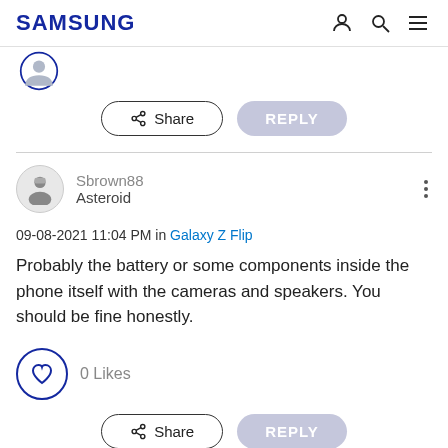SAMSUNG
[Figure (screenshot): Partial avatar icon at top left, circular with Samsung blue border]
Share  REPLY
Sbrown88
Asteroid
09-08-2021 11:04 PM in Galaxy Z Flip
Probably the battery or some components inside the phone itself with the cameras and speakers. You should be fine honestly.
0 Likes
Share  REPLY